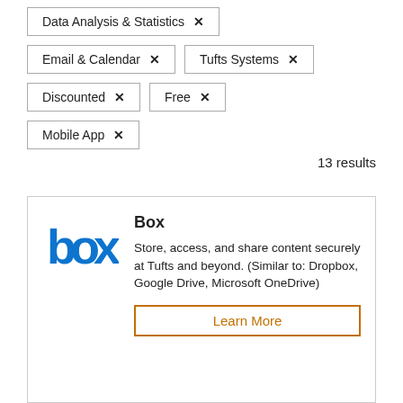Data Analysis & Statistics ×
Email & Calendar ×
Tufts Systems ×
Discounted ×
Free ×
Mobile App ×
13 results
[Figure (logo): Box logo in blue]
Box
Store, access, and share content securely at Tufts and beyond. (Similar to: Dropbox, Google Drive, Microsoft OneDrive)
Learn More